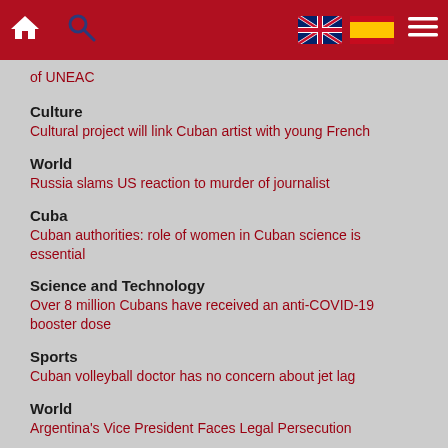Navigation bar with home icon, search icon, UK flag, Spain flag, and hamburger menu
of UNEAC
Culture
Cultural project will link Cuban artist with young French
World
Russia slams US reaction to murder of journalist
Cuba
Cuban authorities: role of women in Cuban science is essential
Science and Technology
Over 8 million Cubans have received an anti-COVID-19 booster dose
Sports
Cuban volleyball doctor has no concern about jet lag
World
Argentina's Vice President Faces Legal Persecution